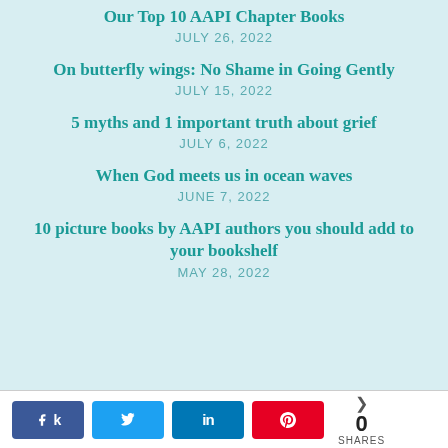Our Top 10 AAPI Chapter Books
JULY 26, 2022
On butterfly wings: No Shame in Going Gently
JULY 15, 2022
5 myths and 1 important truth about grief
JULY 6, 2022
When God meets us in ocean waves
JUNE 7, 2022
10 picture books by AAPI authors you should add to your bookshelf
MAY 28, 2022
[Figure (infographic): Social share buttons: Facebook (k), Twitter, LinkedIn (in), Pinterest, and share count showing 0 SHARES]